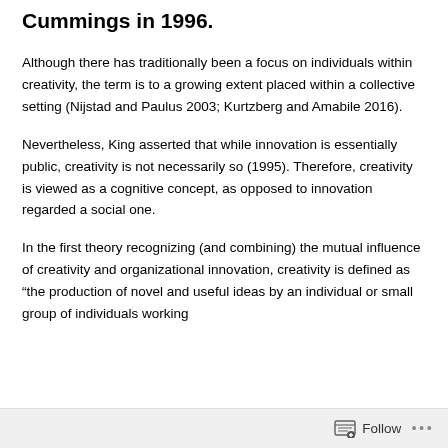Cummings in 1996.
Although there has traditionally been a focus on individuals within creativity, the term is to a growing extent placed within a collective setting (Nijstad and Paulus 2003; Kurtzberg and Amabile 2016).
Nevertheless, King asserted that while innovation is essentially public, creativity is not necessarily so (1995). Therefore, creativity is viewed as a cognitive concept, as opposed to innovation regarded a social one.
In the first theory recognizing (and combining) the mutual influence of creativity and organizational innovation, creativity is defined as “the production of novel and useful ideas by an individual or small group of individuals working
Follow ···